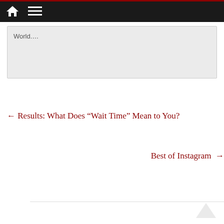Navigation bar with home and menu icons
World….
← Results: What Does “Wait Time” Mean to You?
Best of Instagram →